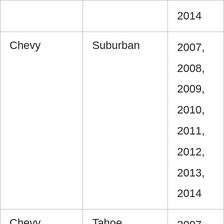| Make | Model | Years |
| --- | --- | --- |
|  |  | 2014 |
| Chevy | Suburban | 2007, 2008, 2009, 2010, 2011, 2012, 2013, 2014 |
| Chevy | Tahoe | 2007, 2008, 2009, 2010, 2011, 2012, 2013, ... |